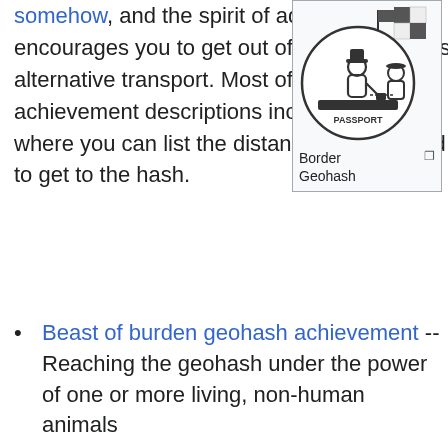somehow, and the spirit of adventure encourages you to get out of your car and use alternative transport. Most of these achievement descriptions include a page where you can list the distance you travelled to get to the hash.
[Figure (illustration): Circular illustration showing a stick figure with a hat at a passport control desk, holding a stamp, with a flag and a black-and-white square (geohash icon) in the upper right corner. Below the circle is text 'PASSPORT'.]
Border Geohash
Beast of burden geohash achievement -- Reaching the geohash under the power of one or more living, non-human animals
Bicycle geohash achievement -- Going by bike. For travel by unicycle see Circus Geohash
Border geohash -- Crossing a frontier to reach a meet
Geohash by proxy achievement -- A remote